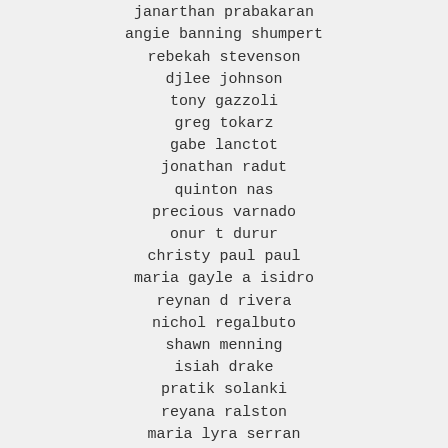dan berth
kerstin alex
janarthan prabakaran
angie banning shumpert
rebekah stevenson
djlee johnson
tony gazzoli
greg tokarz
gabe lanctot
jonathan radut
quinton nas
precious varnado
onur t durur
christy paul paul
maria gayle a isidro
reynan d rivera
nichol regalbuto
shawn menning
isiah drake
pratik solanki
reyana ralston
maria lyra serran
henrrietta nkrumah
carlos r mangual